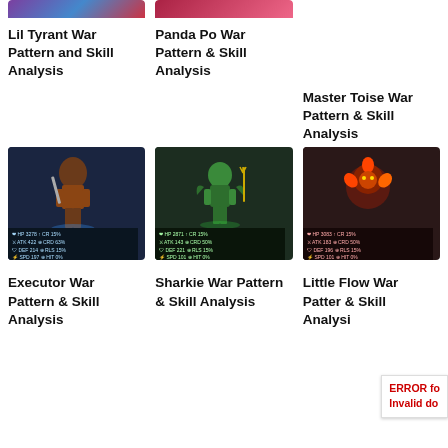[Figure (screenshot): Lil Tyrant game character thumbnail (partially visible, cropped at top)]
[Figure (screenshot): Panda Po game character thumbnail (partially visible, cropped at top)]
Lil Tyrant War Pattern and Skill Analysis
Panda Po War Pattern & Skill Analysis
Master Toise War Pattern & Skill Analysis
[Figure (screenshot): Executor game character full stat card with skills]
[Figure (screenshot): Sharkie game character full stat card with skills]
[Figure (screenshot): Little Flower game character full stat card with skills]
Executor War Pattern & Skill Analysis
Sharkie War Pattern & Skill Analysis
Little Flow War Patter & Skill Analysi